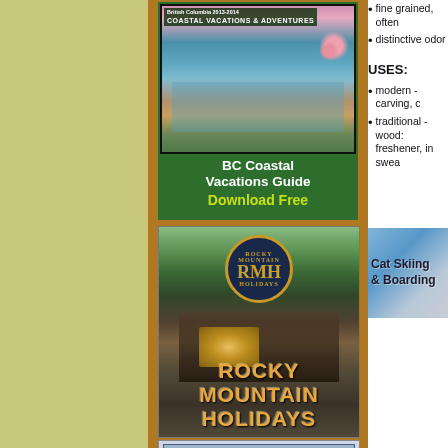[Figure (photo): BC Coastal Vacations Guide advertisement banner with photo of marina/harbor and cherry blossoms. Green background with white text 'BC Coastal Vacations Guide' and yellow 'Download Free']
[Figure (photo): Rocky Mountain Holidays advertisement banner with train in mountain forest, circular RMH logo at top, orange text 'ROCKY MOUNTAIN HOLIDAYS']
[Figure (photo): BC Accommodations Guide partial banner at bottom]
fine grained, often
distinctive odor
USES:
modern - carving, c
traditional - wood: freshener, in swea
[Figure (photo): Cat Skiing & Boarding advertisement banner with skier on blue/grey background]